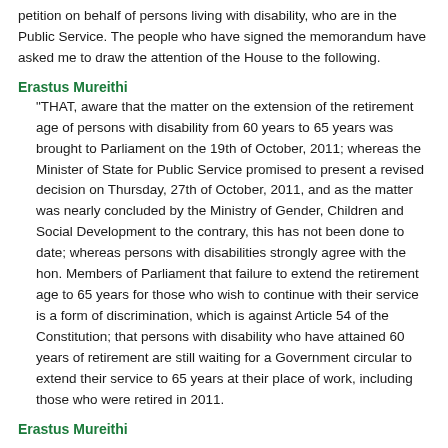petition on behalf of persons living with disability, who are in the Public Service. The people who have signed the memorandum have asked me to draw the attention of the House to the following.
Erastus Mureithi
“THAT, aware that the matter on the extension of the retirement age of persons with disability from 60 years to 65 years was brought to Parliament on the 19th of October, 2011; whereas the Minister of State for Public Service promised to present a revised decision on Thursday, 27th of October, 2011, and as the matter was nearly concluded by the Ministry of Gender, Children and Social Development to the contrary, this has not been done to date; whereas persons with disabilities strongly agree with the hon. Members of Parliament that failure to extend the retirement age to 65 years for those who wish to continue with their service is a form of discrimination, which is against Article 54 of the Constitution; that persons with disability who have attained 60 years of retirement are still waiting for a Government circular to extend their service to 65 years at their place of work, including those who were retired in 2011.
Erastus Mureithi